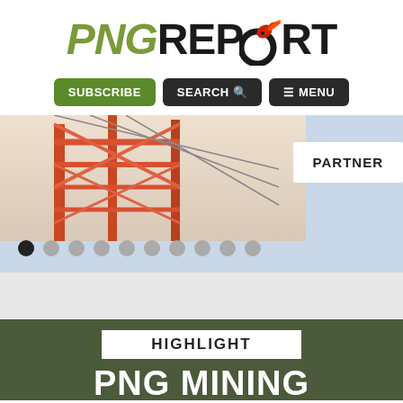[Figure (logo): PNG Report logo with olive/green PNG text in italic, black REPORT text, and a red bird of paradise graphic replacing the O in REPORT]
[Figure (screenshot): Navigation bar with three buttons: SUBSCRIBE (green), SEARCH with magnifier icon (dark), MENU with hamburger icon (dark)]
[Figure (photo): Industrial photo showing orange/red steel crane or tower structure against a light sky, with a white PARTNER label box overlaid on the right side, and a row of pagination dots below the image]
HIGHLIGHT
PNG mining